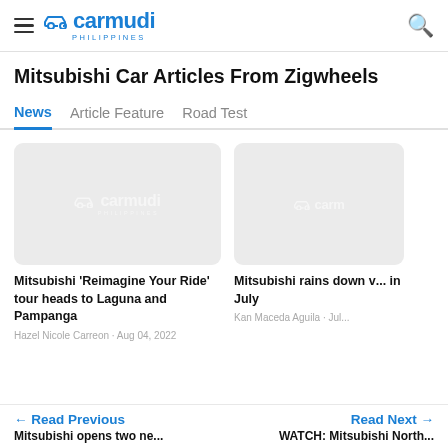carmudi PHILIPPINES
Mitsubishi Car Articles From Zigwheels
News | Article Feature | Road Test
[Figure (screenshot): Carmudi Philippines placeholder card image for article: Mitsubishi 'Reimagine Your Ride' tour heads to Laguna and Pampanga]
Mitsubishi 'Reimagine Your Ride' tour heads to Laguna and Pampanga
Hazel Nicole Carreon · Aug 04, 2022
[Figure (screenshot): Carmudi Philippines placeholder card image for article: Mitsubishi rains down v... in July]
Mitsubishi rains down v... in July
Kan Maceda Aguila · Jul...
← Read Previous | Read Next → | Mitsubishi opens two ne... | WATCH: Mitsubishi North...